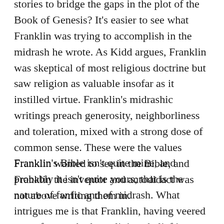stories to bridge the gaps in the plot of the Book of Genesis? It's easier to see what Franklin was trying to accomplish in the midrash he wrote. As Kidd argues, Franklin was skeptical of most religious doctrine but saw religion as valuable insofar as it instilled virtue. Franklin's midrashic writings preach generosity, neighborliness and toleration, mixed with a strong dose of common sense. These were the values Franklin wanted to see in the Bible, and Franklin the inventor and autodidact was not above writing them in.
Franklin's Bible isn't quite mine, and probably it isn't quite yours; that is the nature of fanfic and of midrash. What intrigues me is that Franklin, having veered away from orthodox religious belief in adolescence, continued to read and study the Bible.